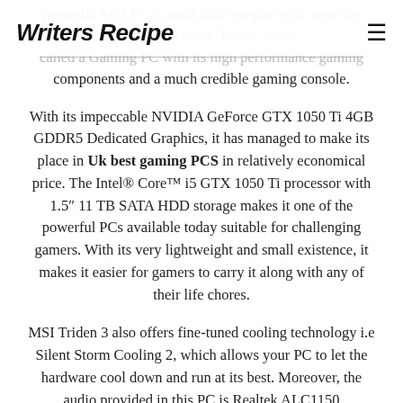Writers Recipe
powerful MSI PC is small and compact with superior gaming processor. Triden 3 was called a Gaming PC with its high performance gaming components and a much credible gaming console.
With its impeccable NVIDIA GeForce GTX 1050 Ti 4GB GDDR5 Dedicated Graphics, it has managed to make its place in Uk best gaming PCS in relatively economical price. The Intel® Core™ i5 GTX 1050 Ti processor with 1.5″ 11 TB SATA HDD storage makes it one of the powerful PCs available today suitable for challenging gamers. With its very lightweight and small existence, it makes it easier for gamers to carry it along with any of their life chores.
MSI Triden 3 also offers fine-tuned cooling technology i.e Silent Storm Cooling 2, which allows your PC to let the hardware cool down and run at its best. Moreover, the audio provided in this PC is Realtek ALC1150